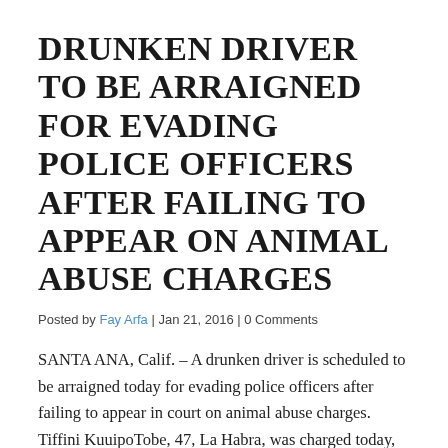DRUNKEN DRIVER TO BE ARRAIGNED FOR EVADING POLICE OFFICERS AFTER FAILING TO APPEAR ON ANIMAL ABUSE CHARGES
Posted by Fay Arfa | Jan 21, 2016 | 0 Comments
SANTA ANA, Calif. – A drunken driver is scheduled to be arraigned today for evading police officers after failing to appear in court on animal abuse charges. Tiffini KuuipoTobe, 47, La Habra, was charged today, Jan. 20, 2016, with one felony count of evading while driving recklessly, one misdemeanor count of driving